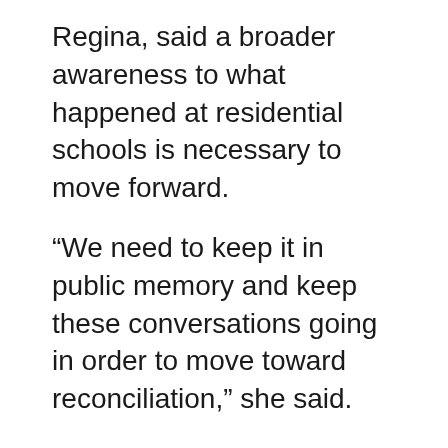Regina, said a broader awareness to what happened at residential schools is necessary to move forward.
“We need to keep it in public memory and keep these conversations going in order to move toward reconciliation,” she said.
“It’s hard to move on and heal and move towards reconciliation until we really understand what happened.”
Campbell said this is just the beginning stage of work that will take years as First Nations continue to search for graves and look to identify the remains.
“This is going to be a very, very long process,” she said.